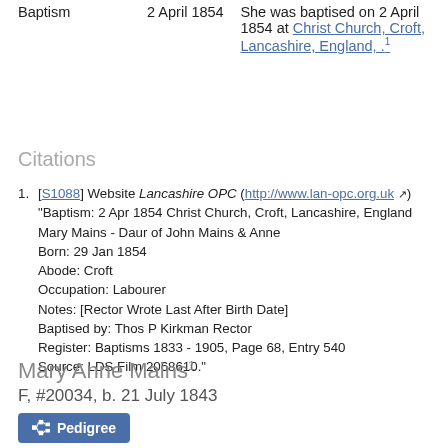|  |  |  |
| --- | --- | --- |
| Baptism | 2 April 1854 | She was baptised on 2 April 1854 at Christ Church, Croft, Lancashire, England, .1 |
Citations
1. [S1088] Website Lancashire OPC (http://www.lan-opc.org.uk) "Baptism: 2 Apr 1854 Christ Church, Croft, Lancashire, England Mary Mains - Daur of John Mains & Anne Born: 29 Jan 1854 Abode: Croft Occupation: Labourer Notes: [Rector Wrote Last After Birth Date] Baptised by: Thos P Kirkman Rector Register: Baptisms 1833 - 1905, Page 68, Entry 540 Source: LDS Film 2068610."
Mary Anne Mains1
F, #20034, b. 21 July 1843
Pedigree